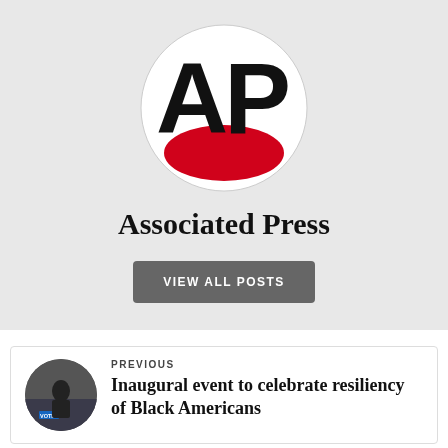[Figure (logo): Associated Press AP logo — circular white background with large bold black AP letters and a red arc at the bottom]
Associated Press
VIEW ALL POSTS
PREVIOUS
Inaugural event to celebrate resiliency of Black Americans